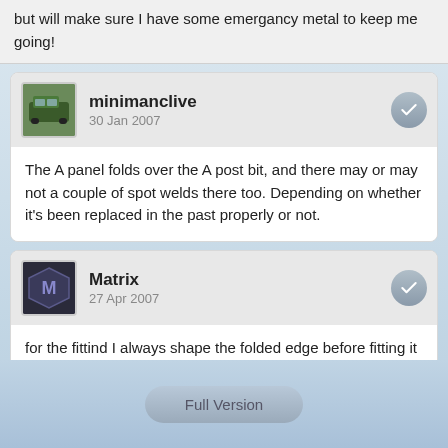but will make sure I have some emergancy metal to keep me going!
minimanclive
30 Jan 2007
The A panel folds over the A post bit, and there may or may not a couple of spot welds there too. Depending on whether it's been replaced in the past properly or not.
Matrix
27 Apr 2007
for the fittind I always shape the folded edge before fitting it on the car then finish it off with a door skinning tool...If you haven't a skinning tool two peices of thin wood about 1" and a set of mole grips but set the gap before you squeeze! and take ya time... tack weld top and bottom.
Share  Share
Full Version